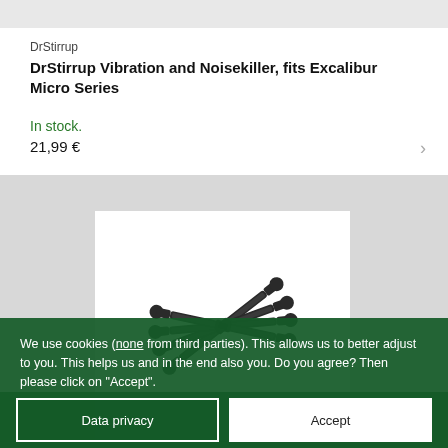DrStirrup
DrStirrup Vibration and Noisekiller, fits Excalibur Micro Series
In stock.
21,99 €
[Figure (photo): Four black elongated vibration dampener rods with ball ends, arranged in a fan/spread pattern on a white background]
We use cookies (none from third parties). This allows us to better adjust to you. This helps us and in the end also you. Do you agree? Then please click on "Accept".
Data privacy
Accept